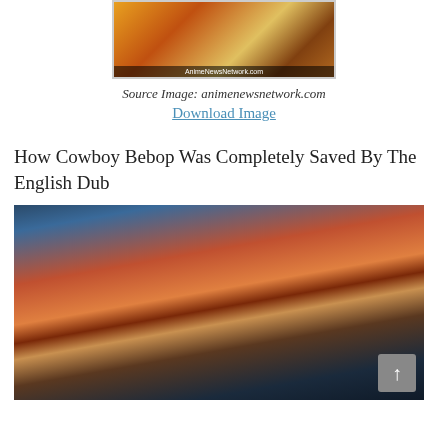[Figure (illustration): Anime artwork image with AnimeNewsNetwork.com watermark at the bottom]
Source Image: animenewsnetwork.com
Download Image
How Cowboy Bebop Was Completely Saved By The English Dub
[Figure (illustration): Anime character from Cowboy Bebop with red hair and wide eyes, looking surprised]